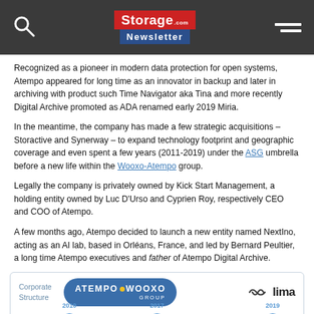Storage Newsletter
Recognized as a pioneer in modern data protection for open systems, Atempo appeared for long time as an innovator in backup and later in archiving with product such Time Navigator aka Tina and more recently Digital Archive promoted as ADA renamed early 2019 Miria.
In the meantime, the company has made a few strategic acquisitions – Storactive and Synerway – to expand technology footprint and geographic coverage and even spent a few years (2011-2019) under the ASG umbrella before a new life within the Wooxo-Atempo group.
Legally the company is privately owned by Kick Start Management, a holding entity owned by Luc D'Urso and Cyprien Roy, respectively CEO and COO of Atempo.
A few months ago, Atempo decided to launch a new entity named NextIno, acting as an AI lab, based in Orléans, France, and led by Bernard Peultier, a long time Atempo executives and father of Atempo Digital Archive.
[Figure (infographic): Corporate structure infographic showing Atempo-Wooxo Group and Lima logos with a timeline showing years 2010, 2017, 2019]